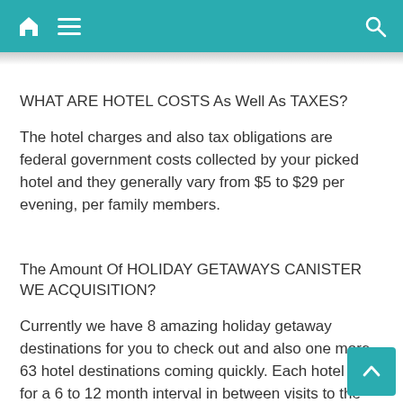Home menu search
WHAT ARE HOTEL COSTS As Well As TAXES?
The hotel charges and also tax obligations are federal government costs collected by your picked hotel and they generally vary from $5 to $29 per evening, per family members.
The Amount Of HOLIDAY GETAWAYS CANISTER WE ACQUISITION?
Currently we have 8 amazing holiday getaway destinations for you to check out and also one more 63 hotel destinations coming quickly. Each hotel calls for a 6 to 12 month interval in between visits to the exact same hotel.